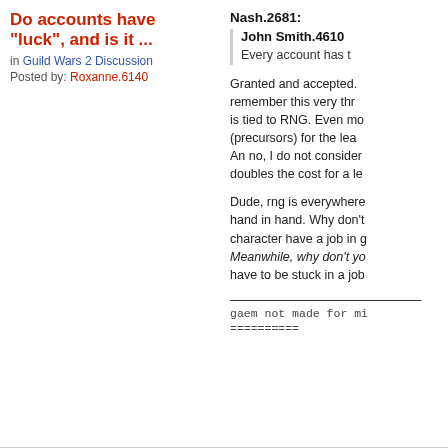Do accounts have "luck", and is it ...
in Guild Wars 2 Discussion
Posted by: Roxanne.6140
Nash.2681:
John Smith.4610
Every account has t
Granted and accepted. remember this very thr is tied to RNG. Even mo (precursors) for the lea An no, I do not consider doubles the cost for a le
Dude, rng is everywhere hand in hand. Why don't character have a job in g Meanwhile, why don't yo have to be stuck in a job
gaem not made for mi
==========